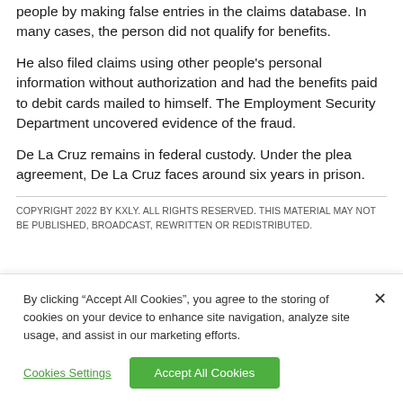people by making false entries in the claims database. In many cases, the person did not qualify for benefits.
He also filed claims using other people’s personal information without authorization and had the benefits paid to debit cards mailed to himself. The Employment Security Department uncovered evidence of the fraud.
De La Cruz remains in federal custody. Under the plea agreement, De La Cruz faces around six years in prison.
COPYRIGHT 2022 BY KXLY. ALL RIGHTS RESERVED. THIS MATERIAL MAY NOT BE PUBLISHED, BROADCAST, REWRITTEN OR REDISTRIBUTED.
By clicking “Accept All Cookies”, you agree to the storing of cookies on your device to enhance site navigation, analyze site usage, and assist in our marketing efforts.